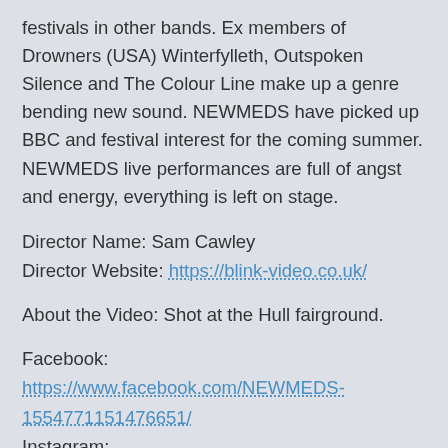festivals in other bands. Ex members of Drowners (USA) Winterfylleth, Outspoken Silence and The Colour Line make up a genre bending new sound. NEWMEDS have picked up BBC and festival interest for the coming summer. NEWMEDS live performances are full of angst and energy, everything is left on stage.
Director Name: Sam Cawley
Director Website: https://blink-video.co.uk/
About the Video: Shot at the Hull fairground.
Facebook: https://www.facebook.com/NEWMEDS-1554771151476651/
Instagram: https://www.instagram.com/new_meds/
YouTube:
https://www.youtube.com/channel/UC_NQj5QzH7_pVo